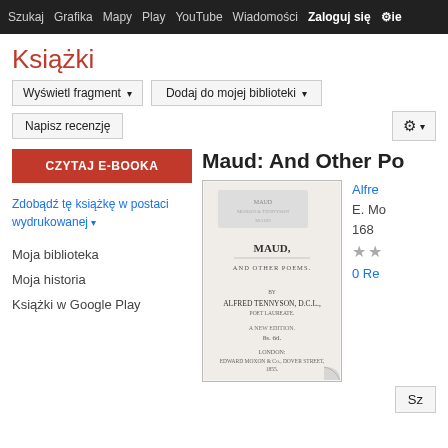Szukaj Grafika Mapy Play YouTube Wiadomości Zaloguj się ⚙ie
Książki
Wyświetl fragment ▾   Dodaj do mojej biblioteki ▾
Napisz recenzję   ⚙ ▾
CZYTAJ E-BOOKA
Zdobądź tę książkę w postaci wydrukowanej ▾
Moja biblioteka
Moja historia
Książki w Google Play
Maud: And Other Poe
[Figure (photo): Book cover of Maud: And Other Poems by Alfred Tennyson, showing title page with text MAUD, AND OTHER POEMS, BY ALFRED TENNYSON, D.C.L., LONDON: EDWARD MOXON & Co., DOVER STREET. 1855.]
Alfre
E. Mo
168
★★
0 Re